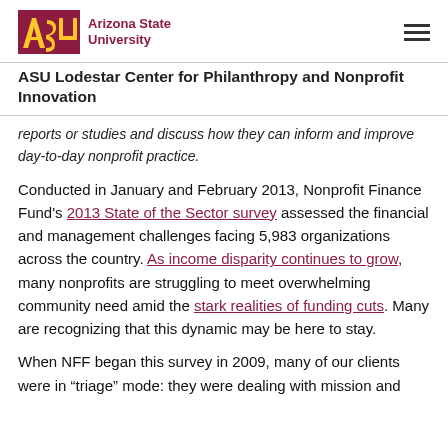ASU Arizona State University
ASU Lodestar Center for Philanthropy and Nonprofit Innovation
reports or studies and discuss how they can inform and improve day-to-day nonprofit practice.
Conducted in January and February 2013, Nonprofit Finance Fund's 2013 State of the Sector survey assessed the financial and management challenges facing 5,983 organizations across the country. As income disparity continues to grow, many nonprofits are struggling to meet overwhelming community need amid the stark realities of funding cuts. Many are recognizing that this dynamic may be here to stay.
When NFF began this survey in 2009, many of our clients were in “triage” mode: they were dealing with mission and